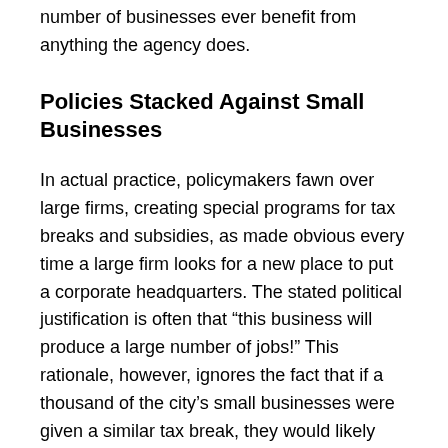number of businesses ever benefit from anything the agency does.
Policies Stacked Against Small Businesses
In actual practice, policymakers fawn over large firms, creating special programs for tax breaks and subsidies, as made obvious every time a large firm looks for a new place to put a corporate headquarters. The stated political justification is often that “this business will produce a large number of jobs!” This rationale, however, ignores the fact that if a thousand of the city’s small businesses were given a similar tax break, they would likely produce a comparable number of new jobs. This is conveniently ignored, and policymakers instead choose to favor certain large firms, which in turn makes it harder for